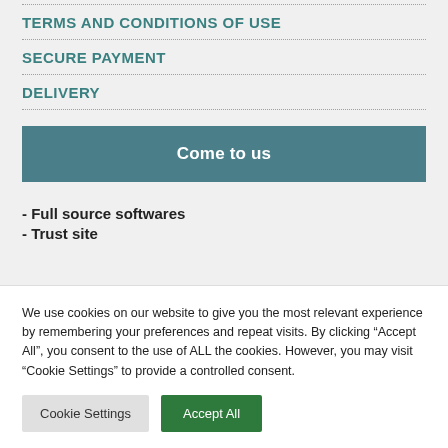TERMS AND CONDITIONS OF USE
SECURE PAYMENT
DELIVERY
[Figure (other): Teal/dark green banner button with text 'Come to us']
- Full source softwares
- Trust site
We use cookies on our website to give you the most relevant experience by remembering your preferences and repeat visits. By clicking “Accept All”, you consent to the use of ALL the cookies. However, you may visit "Cookie Settings" to provide a controlled consent.
Cookie Settings | Accept All